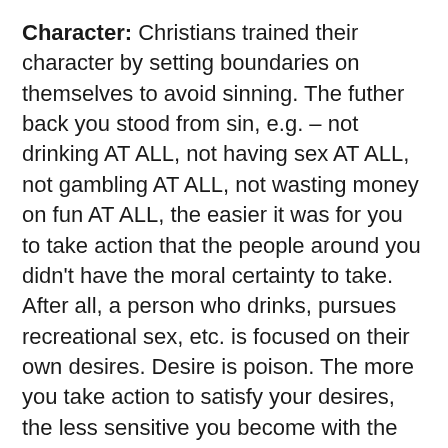Character:  Christians trained their character by setting boundaries on themselves to avoid sinning. The futher back you stood from sin, e.g. – not drinking AT ALL, not having sex AT ALL, not gambling AT ALL, not wasting money on fun AT ALL, the easier it was for you to take action that the people around you didn't have the moral certainty to take. After all, a person who drinks, pursues recreational sex, etc. is focused on their own desires. Desire is poison. The more you take action to satisfy your desires, the less sensitive you become with the needs of people around you. The more you worry about making non-Christians approve of you, the less you are able to take bold actions that reflect your own Christian convictions. Bold moral actions come from the discipline you build up from thousands of unseen actions to be self-controlled.
Today, Christians treat God as a cosmic butler and